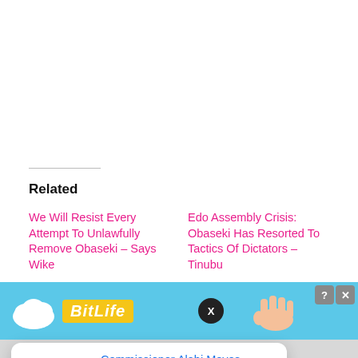Related
We Will Resist Every Attempt To Unlawfully Remove Obaseki – Says Wike
Edo Assembly Crisis: Obaseki Has Resorted To Tactics Of Dictators – Tinubu
[Figure (screenshot): Advertisement banner with BitLife game logo and cloud graphic on blue background, with X close button]
[Figure (screenshot): Push notification popup from GlamTush: 'Commissioner Alabi Moves Against Miscreants In' with timestamp '3 hours ago']
[Figure (screenshot): Blue notification bell button with red badge showing count 3]